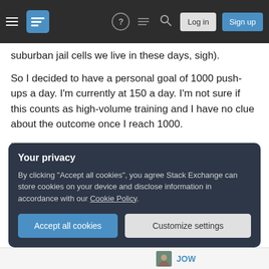Stack Exchange navigation bar with hamburger menu, logo, help, chat, search, Log in, Sign up buttons
suburban jail cells we live in these days, sigh).
So I decided to have a personal goal of 1000 push-ups a day. I'm currently at 150 a day. I'm not sure if this counts as high-volume training and I have no clue about the outcome once I reach 1000.
How much will 1000 push ups a day help in losing body fat? Am I overdoing this? Or is doing pushups just not an effective compound exercise?
Your privacy
By clicking "Accept all cookies", you agree Stack Exchange can store cookies on your device and disclose information in accordance with our Cookie Policy.
Accept all cookies
Customize settings
JOW